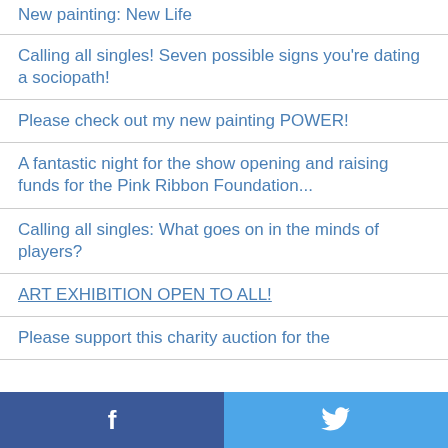New painting: New Life
Calling all singles! Seven possible signs you're dating a sociopath!
Please check out my new painting POWER!
A fantastic night for the show opening and raising funds for the Pink Ribbon Foundation...
Calling all singles: What goes on in the minds of players?
ART EXHIBITION OPEN TO ALL!
Please support this charity auction for the